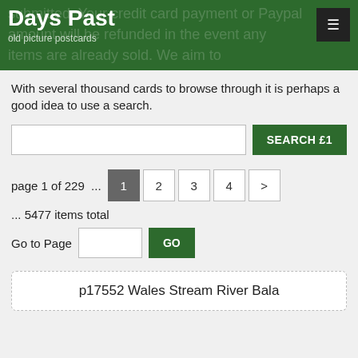Days Past
old picture postcards
submitted. Your credit card payment or Paypal amount will be refunded in the event any items are already sold. We aim to remove sold items promptly after items have been bought.
With several thousand cards to browse through it is perhaps a good idea to use a search.
page 1 of 229 ...
... 5477 items total
Go to Page
p17552 Wales Stream River Bala